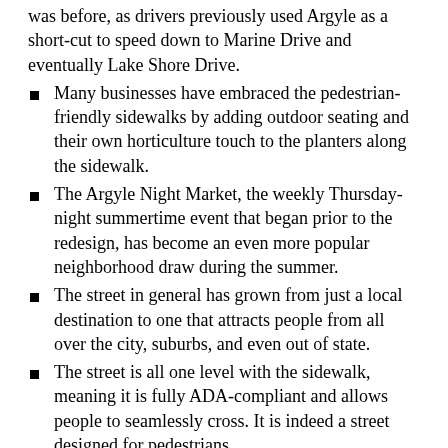was before, as drivers previously used Argyle as a short-cut to speed down to Marine Drive and eventually Lake Shore Drive.
Many businesses have embraced the pedestrian-friendly sidewalks by adding outdoor seating and their own horticulture touch to the planters along the sidewalk.
The Argyle Night Market, the weekly Thursday-night summertime event that began prior to the redesign, has become an even more popular neighborhood draw during the summer.
The street in general has grown from just a local destination to one that attracts people from all over the city, suburbs, and even out of state.
The street is all one level with the sidewalk, meaning it is fully ADA-compliant and allows people to seamlessly cross. It is indeed a street designed for pedestrians.